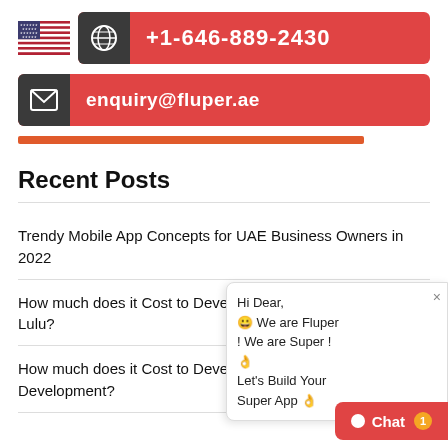[Figure (infographic): Phone contact button with US flag and number +1-646-889-2430 on red background with globe icon]
[Figure (infographic): Email contact button with envelope icon and enquiry@fluper.ae on red background]
[Figure (infographic): Orange horizontal decorative bar]
Recent Posts
Trendy Mobile App Concepts for UAE Business Owners in 2022
How much does it Cost to Develop an Online Shopping App Like Lulu?
How much does it Cost to Develop a Podcast Application Development?
[Figure (screenshot): Chat popup overlay: Hi Dear, We are Fluper ! We are Super ! Let's Build Your Super App, with chat button]